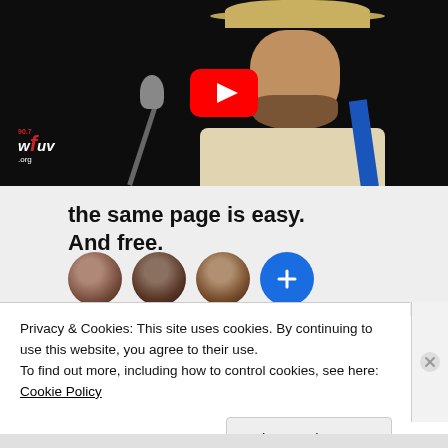[Figure (screenshot): YouTube video thumbnail showing a musician wearing a tan hat and beige shirt with a guitar strap, singing into a microphone. A red YouTube play button overlay is in the center. The WFUV 90.7 radio station logo appears in the bottom-left corner of the thumbnail.]
the same page is easy.
And free.
[Figure (screenshot): Partial view of a promotional section showing circular avatar photos of people and a blue circle with a down-arrow icon.]
Privacy & Cookies: This site uses cookies. By continuing to use this website, you agree to their use.
To find out more, including how to control cookies, see here: Cookie Policy
Close and accept